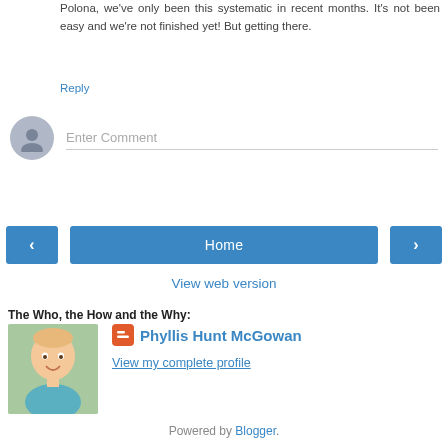Polona, we've only been this systematic in recent months. It's not been easy and we're not finished yet! But getting there.
Reply
[Figure (other): Comment input area with avatar placeholder and 'Enter Comment' text field]
[Figure (other): Navigation buttons: left arrow, Home, right arrow]
View web version
The Who, the How and the Why:
[Figure (photo): Profile photo of a baby smiling, wearing a blue outfit]
Phyllis Hunt McGowan
View my complete profile
Powered by Blogger.